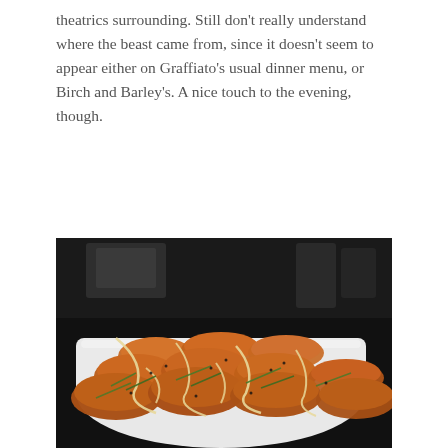theatrics surrounding. Still don't really understand where the beast came from, since it doesn't seem to appear either on Graffiato's usual dinner menu, or Birch and Barley's. A nice touch to the evening, though.
[Figure (photo): Close-up photograph of fried food pieces (likely chicken wings or similar fried bites) on a white rectangular plate, drizzled with a creamy sauce and garnished with thin green herbs/scallions and black sesame seeds. Dark restaurant background.]